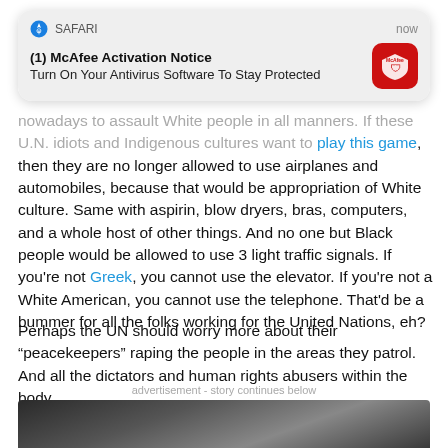[Figure (screenshot): Safari browser push notification for McAfee Activation Notice: 'Turn On Your Antivirus Software To Stay Protected']
…nowadays to assault White people in all manners. If these U.N. idiots and Indigenous cultures want to play this game, then they are no longer allowed to use airplanes and automobiles, because that would be appropriation of White culture. Same with aspirin, blow dryers, bras, computers, and a whole host of other things. And no one but Black people would be allowed to use 3 light traffic signals. If you're not Greek, you cannot use the elevator. If you're not a White American, you cannot use the telephone. That'd be a bummer for all the folks working for the United Nations, eh?
Perhaps the UN should worry more about their “peacekeepers” raping the people in the areas they patrol. And all the dictators and human rights abusers within the body.
advertisement - story continues below
[Figure (photo): Partial photo of a person, cropped, dark background]